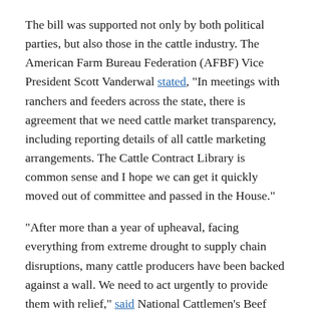The bill was supported not only by both political parties, but also those in the cattle industry. The American Farm Bureau Federation (AFBF) Vice President Scott Vanderwal stated, "In meetings with ranchers and feeders across the state, there is agreement that we need cattle market transparency, including reporting details of all cattle marketing arrangements. The Cattle Contract Library is common sense and I hope we can get it quickly moved out of committee and passed in the House."
"After more than a year of upheaval, facing everything from extreme drought to supply chain disruptions, many cattle producers have been backed against a wall. We need to act urgently to provide them with relief," said National Cattlemen's Beef Association (NCBA) President Jerry Bohn. "There is no single, silver bullet solution to the wide variety of needs among our